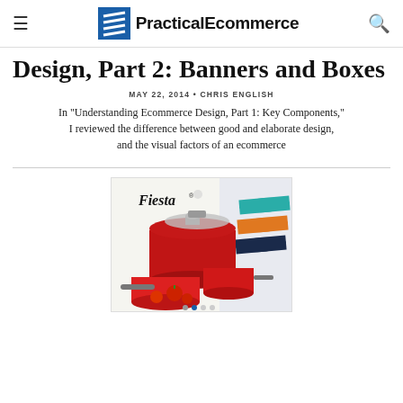PracticalEcommerce
Design, Part 2: Banners and Boxes
MAY 22, 2014 • CHRIS ENGLISH
In "Understanding Ecommerce Design, Part 1: Key Components," I reviewed the difference between good and elaborate design, and the visual factors of an ecommerce
[Figure (photo): Fiesta brand cookware advertisement banner showing red pots and pans with colorful cookware in the background. Carousel navigation dots visible at bottom.]